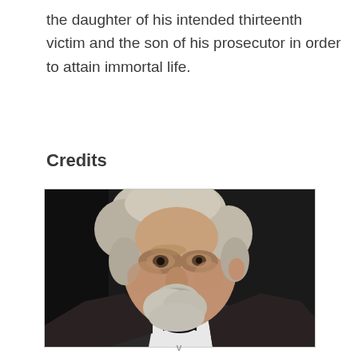the daughter of his intended thirteenth victim and the son of his prosecutor in order to attain immortal life.
Credits
[Figure (photo): Portrait photograph of an elderly man with white/grey hair and beard, wearing a white dress shirt and black bow tie, photographed against a dark background.]
v